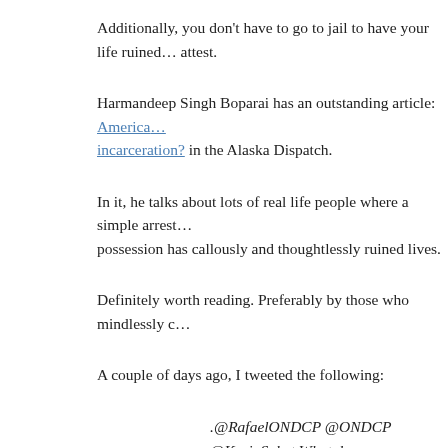Additionally, you don't have to go to jail to have your life ruined, as many can attest.
Harmandeep Singh Boparai has an outstanding article: America... incarceration? in the Alaska Dispatch.
In it, he talks about lots of real life people where a simple arrest... possession has callously and thoughtlessly ruined lives.
Definitely worth reading. Preferably by those who mindlessly c...
A couple of days ago, I tweeted the following:
.@RafaelONDCP @ONDCP @KevinSabet What do you... non-problematic marijuana users? Arrest? Mandatory t...
Naturally, I got no response.
And this is one of the most glaring problems with the third-way...